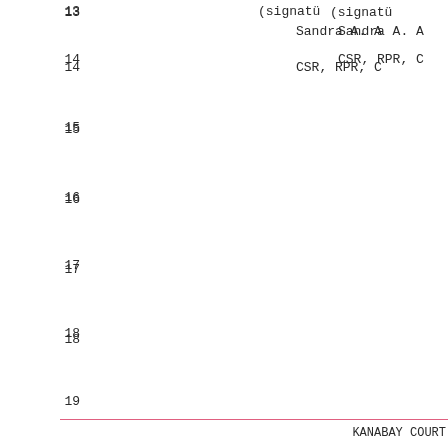13    (signature
Sandra A. A
14    CSR, RPR, C
15
16
17
18
19
20
21
22
23
24
25
KANABAY COURT